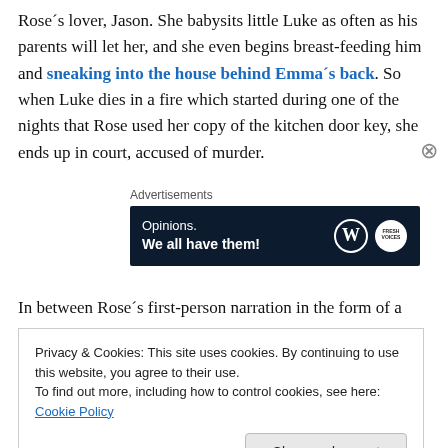Rose´s lover, Jason. She babysits little Luke as often as his parents will let her, and she even begins breast-feeding him and sneaking into the house behind Emma´s back. So when Luke dies in a fire which started during one of the nights that Rose used her copy of the kitchen door key, she ends up in court, accused of murder.
[Figure (other): Advertisement banner with dark navy background. Text reads 'Opinions. We all have them!' with WordPress and Fresh Voices logos on the right.]
In between Rose´s first-person narration in the form of a
Privacy & Cookies: This site uses cookies. By continuing to use this website, you agree to their use. To find out more, including how to control cookies, see here: Cookie Policy
Close and accept